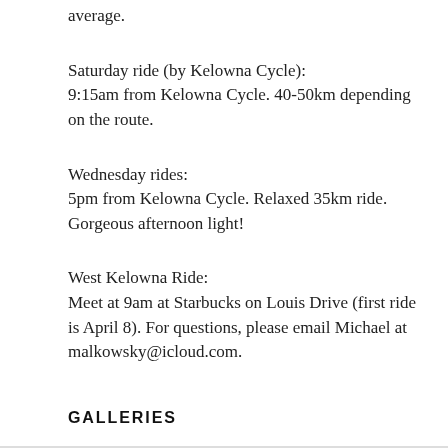average.
Saturday ride (by Kelowna Cycle):
9:15am from Kelowna Cycle. 40-50km depending on the route.
Wednesday rides:
5pm from Kelowna Cycle. Relaxed 35km ride. Gorgeous afternoon light!
West Kelowna Ride:
Meet at 9am at Starbucks on Louis Drive (first ride is April 8). For questions, please email Michael at malkowsky@icloud.com.
GALLERIES